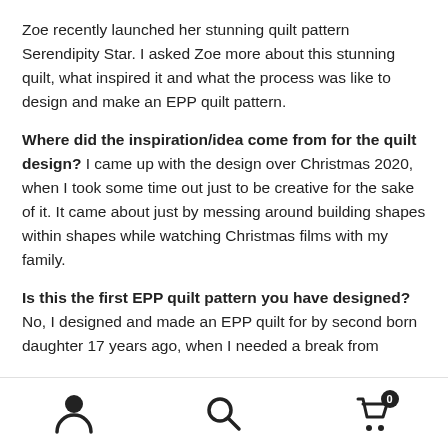Zoe recently launched her stunning quilt pattern Serendipity Star. I asked Zoe more about this stunning quilt, what inspired it and what the process was like to design and make an EPP quilt pattern.
Where did the inspiration/idea come from for the quilt design? I came up with the design over Christmas 2020, when I took some time out just to be creative for the sake of it. It came about just by messing around building shapes within shapes while watching Christmas films with my family.
Is this the first EPP quilt pattern you have designed? No, I designed and made an EPP quilt for by second born daughter 17 years ago, when I needed a break from
[person icon] [search icon] [cart icon with badge 0]